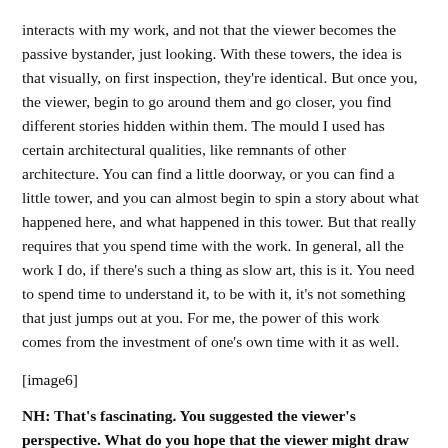interacts with my work, and not that the viewer becomes the passive bystander, just looking. With these towers, the idea is that visually, on first inspection, they're identical. But once you, the viewer, begin to go around them and go closer, you find different stories hidden within them. The mould I used has certain architectural qualities, like remnants of other architecture. You can find a little doorway, or you can find a little tower, and you can almost begin to spin a story about what happened here, and what happened in this tower. But that really requires that you spend time with the work. In general, all the work I do, if there's such a thing as slow art, this is it. You need to spend time to understand it, to be with it, it's not something that just jumps out at you. For me, the power of this work comes from the investment of one's own time with it as well.
[Figure (other): [image6] placeholder]
NH: That's fascinating. You suggested the viewer's perspective. What do you hope that the viewer might draw from your exhibition?